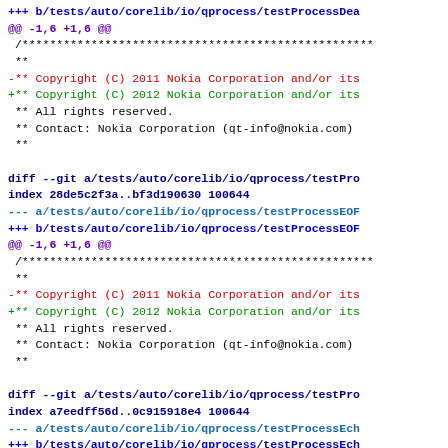diff patch showing copyright year changes from 2011 to 2012 in Nokia Qt test files: testProcessDea, testProcessEOF, testProcessEch
+++ b/tests/auto/corelib/io/qprocess/testProcessDea
@@ -1,6 +1,6 @@
 /***...
 **
-** Copyright (C) 2011 Nokia Corporation and/or its
+** Copyright (C) 2012 Nokia Corporation and/or its
 ** All rights reserved.
 ** Contact: Nokia Corporation (qt-info@nokia.com)
 **

diff --git a/tests/auto/corelib/io/qprocess/testPro
index 28de5c2f3a..bf3d190630 100644
--- a/tests/auto/corelib/io/qprocess/testProcessEOF
+++ b/tests/auto/corelib/io/qprocess/testProcessEOF
@@ -1,6 +1,6 @@
 /***...
 **
-** Copyright (C) 2011 Nokia Corporation and/or its
+** Copyright (C) 2012 Nokia Corporation and/or its
 ** All rights reserved.
 ** Contact: Nokia Corporation (qt-info@nokia.com)
 **

diff --git a/tests/auto/corelib/io/qprocess/testPro
index a7eedff56d..0c915918e4 100644
--- a/tests/auto/corelib/io/qprocess/testProcessEch
+++ b/tests/auto/corelib/io/qprocess/testProcessEch
@@ -1,6 +1,6 @@
 /***...
 **